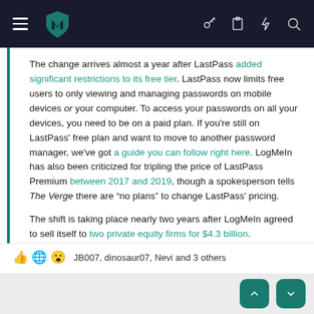Navigation bar with logo and icons
The change arrives almost a year after LastPass added significant restrictions to its free tier. LastPass now limits free users to only viewing and managing passwords on mobile devices or your computer. To access your passwords on all your devices, you need to be on a paid plan. If you're still on LastPass' free plan and want to move to another password manager, we've got a guide you can follow right here. LogMeIn has also been criticized for tripling the price of LastPass Premium between 2017 and 2019, though a spokesperson tells The Verge there are “no plans” to change LastPass' pricing.

The shift is taking place nearly two years after LogMeIn agreed to sell itself to two private equity firms for $4.3 billion.
JB007, dinosaur07, Nevi and 3 others